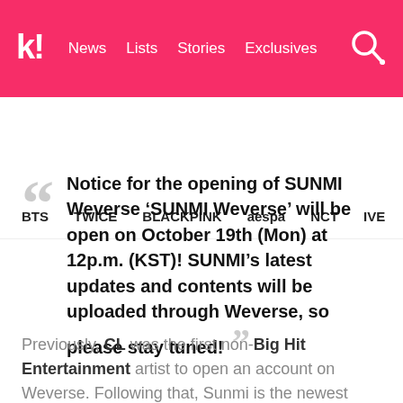k! News Lists Stories Exclusives
BTS TWICE BLACKPINK aespa NCT IVE SHIN
Notice for the opening of SUNMI Weverse 'SUNMI Weverse' will be open on October 19th (Mon) at 12p.m. (KST)! SUNMI's latest updates and contents will be uploaded through Weverse, so please stay tuned!
Previously, CL was the first non-Big Hit Entertainment artist to open an account on Weverse. Following that, Sunmi is the newest artist to join the communication platform, and